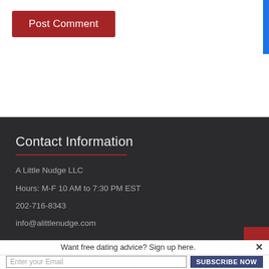[Figure (screenshot): Post Comment button on white background with a blue bar on the right edge]
Contact Information
A Little Nudge LLC
Hours: M-F 10 AM to 7:30 PM EST
202-716-8343
info@alittlenudge.com
Want free dating advice? Sign up here.
Enter your Email
SUBSCRIBE NOW